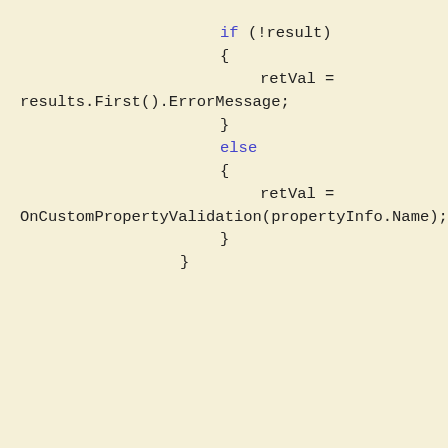if (!result)
{
    retVal = results.First().ErrorMessage;
}
else
{
    retVal = OnCustomPropertyValidation(propertyInfo.Name);
}
}
Like every other website we use cookies. By using our site you acknowledge that you have read and understand our Cookie Policy, Privacy Policy, and our Terms of Service. Learn more
Ask me later
Decline
Allow cookies
...ets by reflection ...validates the ...y, if there is no
...hat we can override in our view models...